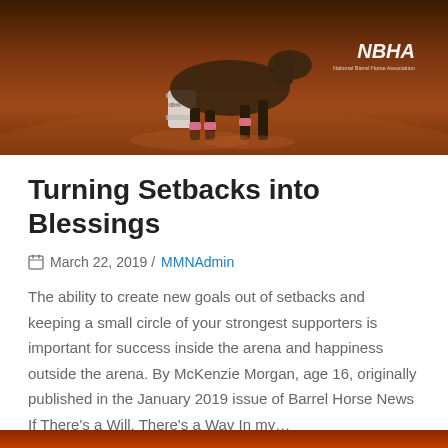[Figure (photo): Hero image of a barrel horse and rider racing around a barrel on a dirt arena floor. The NBHA logo is visible in the upper right area of the image.]
Turning Setbacks into Blessings
March 22, 2019 / MMNAdmin
The ability to create new goals out of setbacks and keeping a small circle of your strongest supporters is important for success inside the arena and happiness outside the arena. By McKenzie Morgan, age 16, originally published in the January 2019 issue of Barrel Horse News If There's a Will, There's a Way In my…
Read More...